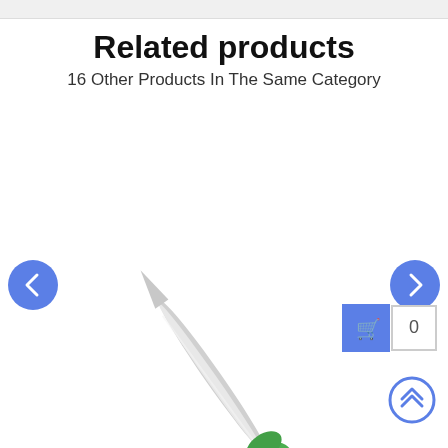Related products
16 Other Products In The Same Category
[Figure (photo): A kitchen paring knife with a green plastic handle and silver blade, shown diagonally on white background]
[Figure (other): Left navigation arrow button (blue circle with left chevron), right navigation arrow button (blue circle with right chevron), shopping cart button (blue square with cart icon plus white count box showing 0), scroll-to-top button (blue circle outline with double up chevrons)]